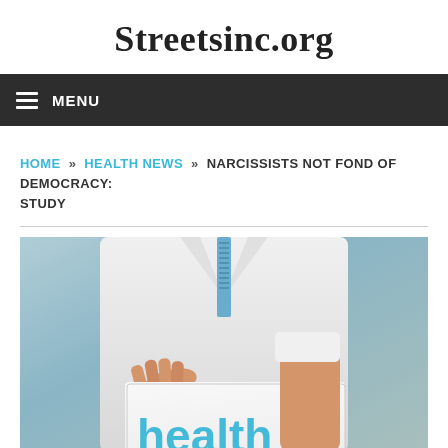Streetsinc.org
MENU
HOME » HEALTH NEWS » NARCISSISTS NOT FOND OF DEMOCRACY: STUDY
[Figure (photo): A person in a white lab coat and blue patterned tie holding a white card with the word 'health' written in blue text, photographed from neck down, against a light blue/gray gradient background.]